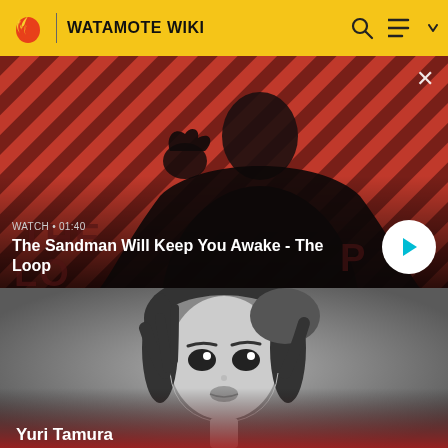WATAMOTE WIKI
[Figure (screenshot): Video thumbnail showing a dark figure with a bird on shoulder against a red and dark diagonal striped background. Text overlay: WATCH • 01:40, The Sandman Will Keep You Awake - The Loop]
WATCH • 01:40
The Sandman Will Keep You Awake - The Loop
[Figure (photo): Black and white manga-style illustration of a female character (Yuri Tamura) looking upward, partial view at bottom of page]